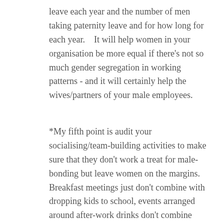leave each year and the number of men taking paternity leave and for how long for each year.    It will help women in your organisation be more equal if there's not so much gender segregation in working patterns - and it will certainly help the wives/partners of your male employees.
*My fifth point is audit your socialising/team-building activities to make sure that they don't work a treat for male-bonding but leave women on the margins.  Breakfast meetings just don't combine with dropping kids to school, events arranged around after-work drinks don't combine with children's bed-time.   An outing to the funfair and rides on a roller coaster is not suitable for pregnant women.